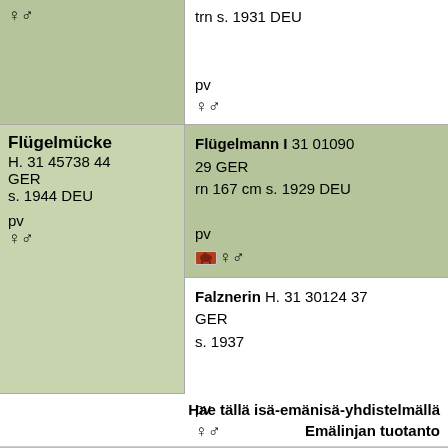♀♂
trn s. 1931 DEU

pv
♀♂
Flügelmücke H. 31 45738 44 GER s. 1944 DEU

pv
♀♂
Flügelmann I 31 01090 29 GER rn 167 cm s. 1929 DEU

pv
[horse icon]♀♂
Falznerin H. 31 30124 37 GER s. 1937

pv
♀♂
Hae tällä isä-emänisä-yhdistelmällä
Emälinjan tuotanto